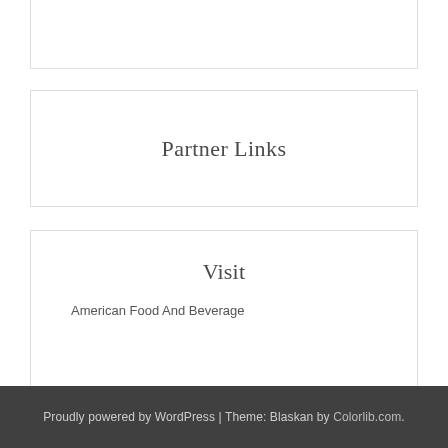Partner Links
Visit
American Food And Beverage
Proudly powered by WordPress | Theme: Blaskan by Colorlib.com.